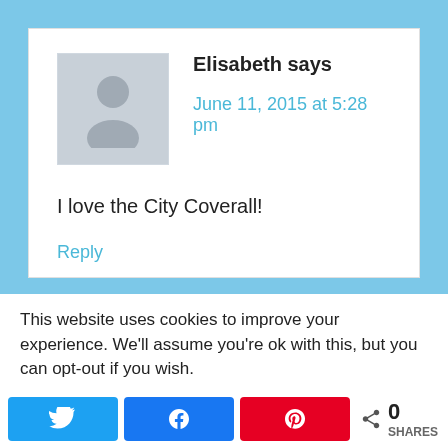Elisabeth says
June 11, 2015 at 5:28 pm
I love the City Coverall!
Reply
This website uses cookies to improve your experience. We'll assume you're ok with this, but you can opt-out if you wish.
0 SHARES